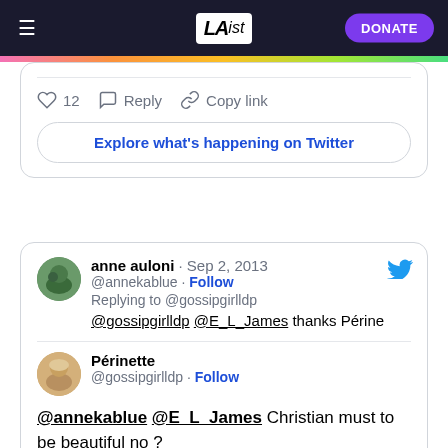LA ist — DONATE
[Figure (screenshot): Twitter/social media embed showing tweet actions: heart icon with 12 likes, Reply button, Copy link button, and Explore what's happening on Twitter button]
[Figure (screenshot): Twitter embed: anne auloni @annekablue Sep 2, 2013, Replying to @gossipgirlldp, @gossipgirlldp @E_L_James thanks Périne. Nested tweet from Périnette @gossipgirlldp with Follow button and tweet text: @annekablue @E_L_James Christian must to be beautiful no ?]